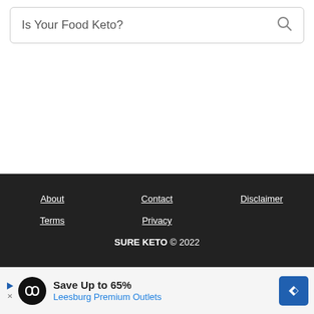Is Your Food Keto?
About  Contact  Disclaimer  Terms  Privacy  SURE KETO © 2022
AN ELITE CAFEMEDIA LIFESTYLE PUBLISHER
[Figure (other): Advertisement banner: circular black logo with infinity-like symbol, text 'Save Up to 65% Leesburg Premium Outlets', blue diamond navigation arrow icon on right, play/close icons on left]